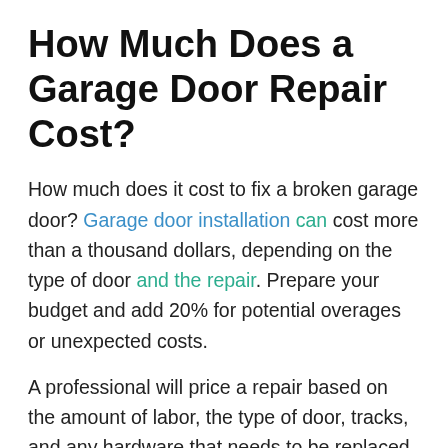How Much Does a Garage Door Repair Cost?
How much does it cost to fix a broken garage door? Garage door installation can cost more than a thousand dollars, depending on the type of door and the repair. Prepare your budget and add 20% for potential overages or unexpected costs.
A professional will price a repair based on the amount of labor, the type of door, tracks, and any hardware that needs to be replaced or repaired. Neither design nor material should affect the amount of time it takes for a repair, though certain supplies may be more expensive than others.